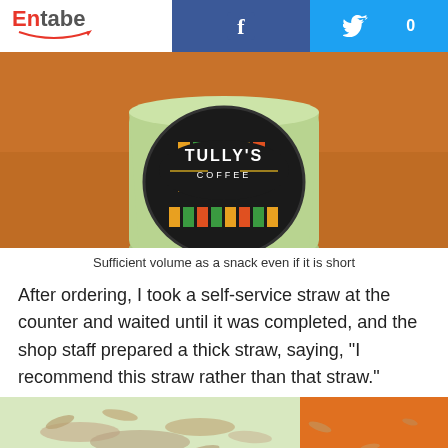Entabe
[Figure (photo): A Tully's Coffee cup with green exterior and the Tully's Coffee logo on the side, sitting on a wooden surface]
Sufficient volume as a snack even if it is short
After ordering, I took a self-service straw at the counter and waited until it was completed, and the shop staff prepared a thick straw, saying, "I recommend this straw rather than that straw."
[Figure (photo): Close-up of a drink with whipped cream or shaved toppings, with an orange element on the right side]